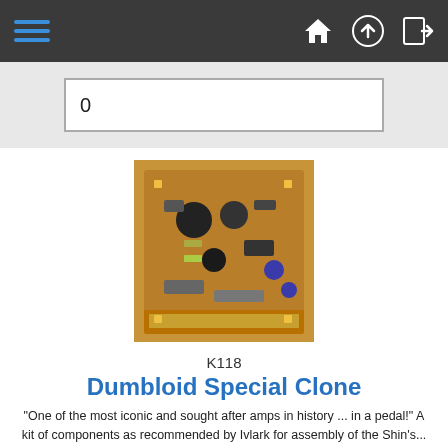Navigation bar with hamburger menu and icons
0
[Figure (photo): Circuit board PCB kit product photo for K118 Dumbloid Special Clone]
K118
Dumbloid Special Clone
"One of the most iconic and sought after amps in history ... in a pedal!" A kit of components as recommended by Ivlark for assembly of the Shin's...
£22.69
Add:
0
[Figure (photo): Partial view of another circuit board PCB kit product at the bottom of the page]